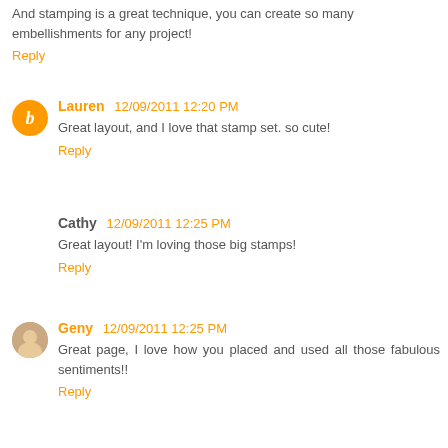And stamping is a great technique, you can create so many embellishments for any project!
Reply
Lauren 12/09/2011 12:20 PM
Great layout, and I love that stamp set. so cute!
Reply
Cathy 12/09/2011 12:25 PM
Great layout! I'm loving those big stamps!
Reply
Geny 12/09/2011 12:25 PM
Great page, I love how you placed and used all those fabulous sentiments!!
Reply